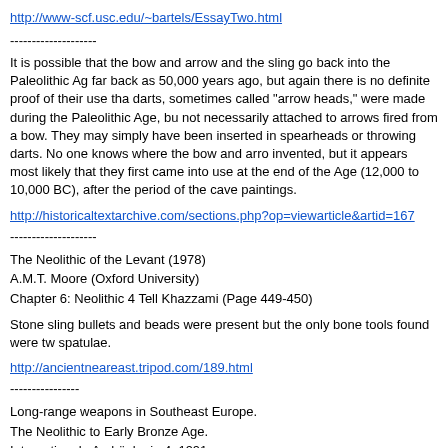http://www-scf.usc.edu/~bartels/EssayTwo.html
--------------------
It is possible that the bow and arrow and the sling go back into the Paleolithic Age as far back as 50,000 years ago, but again there is no definite proof of their use that darts, sometimes called "arrow heads," were made during the Paleolithic Age, but not necessarily attached to arrows fired from a bow. They may simply have been inserted in spearheads or throwing darts. No one knows where the bow and arrow invented, but it appears most likely that they first came into use at the end of the Age (12,000 to 10,000 BC), after the period of the cave paintings.
http://historicaltextarchive.com/sections.php?op=viewarticle&artid=167
--------------------
The Neolithic of the Levant (1978)
A.M.T. Moore (Oxford University)
Chapter 6: Neolithic 4 Tell Khazzami (Page 449-450)
Stone sling bullets and beads were present but the only bone tools found were two spatulae.
http://ancientneareast.tripod.com/189.html
----------------
Long-range weapons in Southeast Europe.
The Neolithic to Early Bronze Age.
Internationale Archäologie 4, 1991